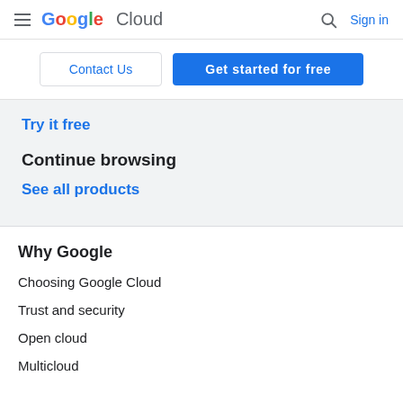Google Cloud | Sign in
Contact Us | Get started for free
Try it free
Continue browsing
See all products
Why Google
Choosing Google Cloud
Trust and security
Open cloud
Multicloud